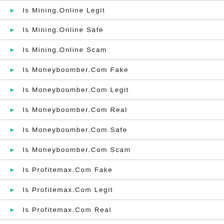Is Mining.Online Legit
Is Mining.Online Safe
Is Mining.Online Scam
Is Moneyboomber.Com Fake
Is Moneyboomber.Com Legit
Is Moneyboomber.Com Real
Is Moneyboomber.Com Safe
Is Moneyboomber.Com Scam
Is Profitemax.Com Fake
Is Profitemax.Com Legit
Is Profitemax.Com Real
Is Profitemax.Com Safe
Is Profitemax.Com Scam
Is Chil...